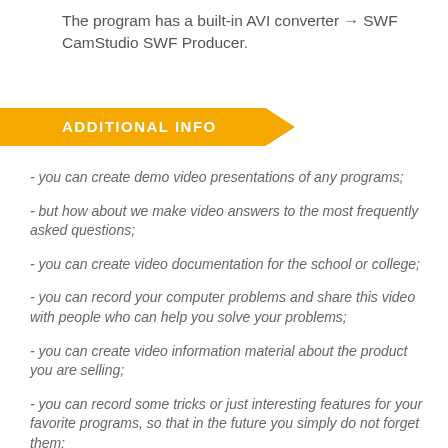The program has a built-in AVI converter → SWF CamStudio SWF Producer.
ADDITIONAL INFO
- you can create demo video presentations of any programs;
- but how about we make video answers to the most frequently asked questions;
- you can create video documentation for the school or college;
- you can record your computer problems and share this video with people who can help you solve your problems;
- you can create video information material about the product you are selling;
- you can record some tricks or just interesting features for your favorite programs, so that in the future you simply do not forget them;